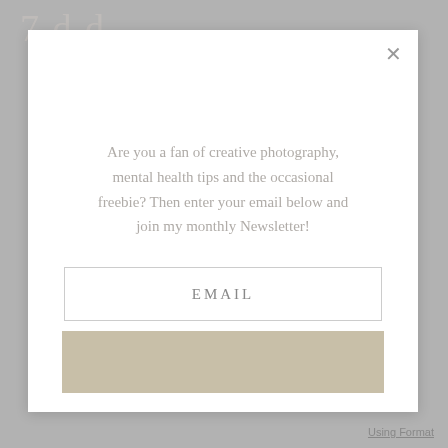[Figure (screenshot): Modal popup dialog with a newsletter signup form on a grey background with a decorative script element at the top left]
Are you a fan of creative photography, mental health tips and the occasional freebie? Then enter your email below and join my monthly Newsletter!
EMAIL
Using Format